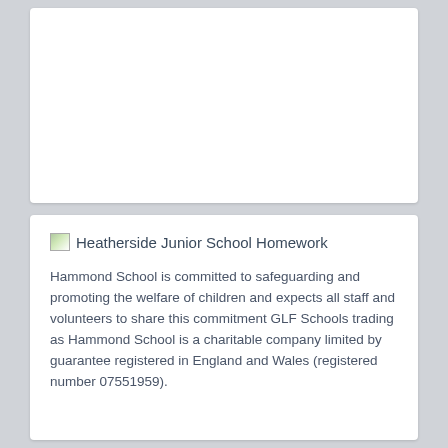[Figure (other): Top white card area — blank content area above the main section]
Heatherside Junior School Homework
Hammond School is committed to safeguarding and promoting the welfare of children and expects all staff and volunteers to share this commitment GLF Schools trading as Hammond School is a charitable company limited by guarantee registered in England and Wales (registered number 07551959).